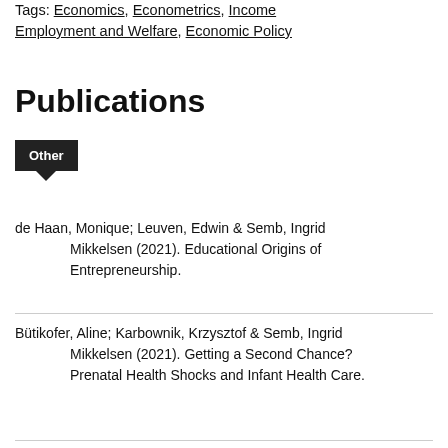Tags: Economics, Econometrics, Income Employment and Welfare, Economic Policy
Publications
[Figure (other): Dark badge/tag labeled 'Other' with a downward arrow pointer at the bottom]
de Haan, Monique; Leuven, Edwin & Semb, Ingrid Mikkelsen (2021). Educational Origins of Entrepreneurship.
Bütikofer, Aline; Karbownik, Krzysztof & Semb, Ingrid Mikkelsen (2021). Getting a Second Chance? Prenatal Health Shocks and Infant Health Care.